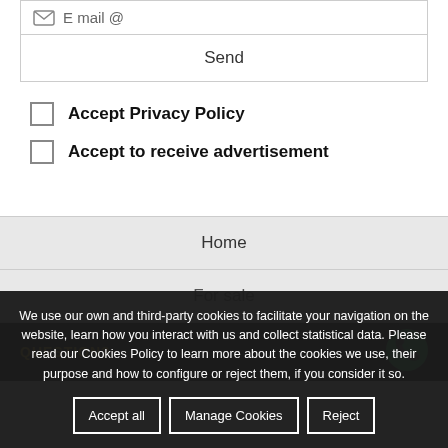[Figure (screenshot): Email input field with envelope icon and @ symbol]
Send
Accept Privacy Policy
Accept to receive advertisement
Home
For sale
We use our own and third-party cookies to facilitate your navigation on the website, learn how you interact with us and collect statistical data. Please read our Cookies Policy to learn more about the cookies we use, their purpose and how to configure or reject them, if you consider it so.
Accept all
Manage Cookies
Reject
QUESTION?